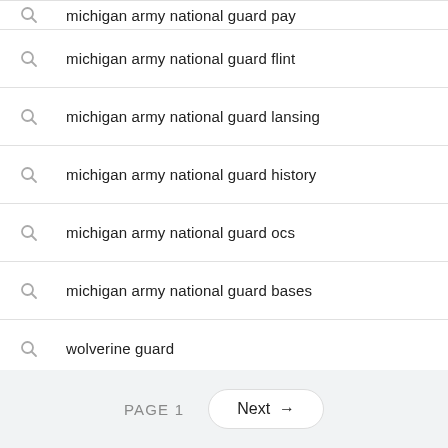michigan army national guard pay
michigan army national guard flint
michigan army national guard lansing
michigan army national guard history
michigan army national guard ocs
michigan army national guard bases
wolverine guard
michigan army national guard owa
PAGE 1  Next →